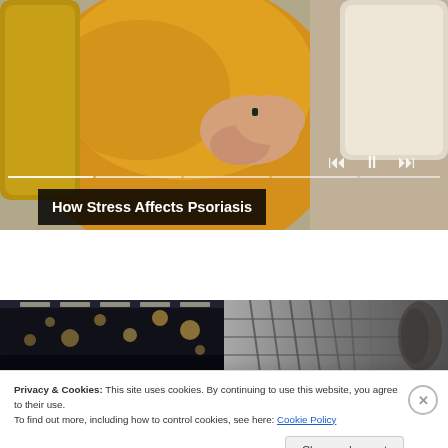[Figure (screenshot): Video player showing a woman in a yellow knit sweater sitting on a sofa, scratching her arm. Video controls (skip back, pause, skip forward) visible in bottom right. Progress bar at bottom.]
How Stress Affects Psoriasis
[Figure (photo): Two side-by-side thumbnail images: left shows a blurred bar/restaurant with bokeh lights, right shows a black-and-white architectural or guitar detail]
Privacy & Cookies: This site uses cookies. By continuing to use this website, you agree to their use.
To find out more, including how to control cookies, see here: Cookie Policy
Close and accept